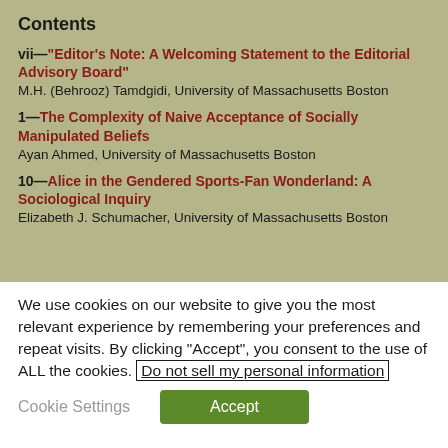Contents
vii—"Editor's Note: A Welcoming Statement to the Editorial Advisory Board"
M.H. (Behrooz) Tamdgidi, University of Massachusetts Boston
1—The Complexity of Naive Acceptance of Socially Manipulated Beliefs
Ayan Ahmed, University of Massachusetts Boston
10—Alice in the Gendered Sports-Fan Wonderland: A Sociological Inquiry
Elizabeth J. Schumacher, University of Massachusetts Boston
We use cookies on our website to give you the most relevant experience by remembering your preferences and repeat visits. By clicking “Accept”, you consent to the use of ALL the cookies. Do not sell my personal information
Cookie Settings   Accept